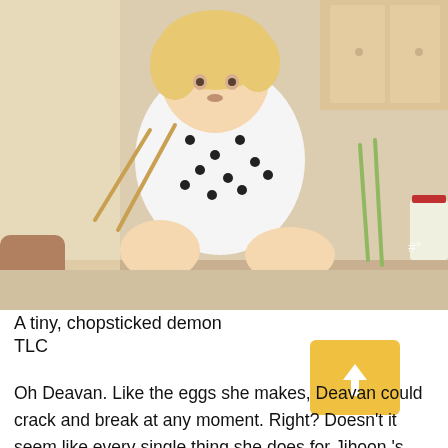[Figure (photo): A young blonde toddler girl in a polka-dot dress sits on a kitchen counter holding chopsticks, barefoot. An adult's hand is visible on the left side. Kitchen cabinets and appliances visible in the background.]
A tiny, chopsticked demon
TLC
Oh Deavan. Like the eggs she makes, Deavan could crack and break at any moment. Right? Doesn't it seem like every single thing she does for Jihoon's family is the most important task of